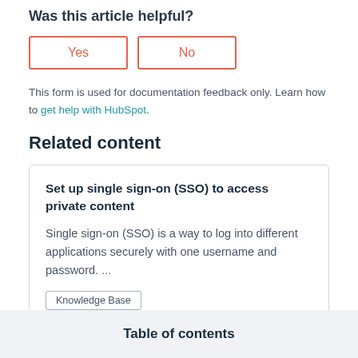Was this article helpful?
Yes
No
This form is used for documentation feedback only. Learn how to get help with HubSpot.
Related content
Set up single sign-on (SSO) to access private content
Single sign-on (SSO) is a way to log into different applications securely with one username and password. ...
Knowledge Base
Table of contents